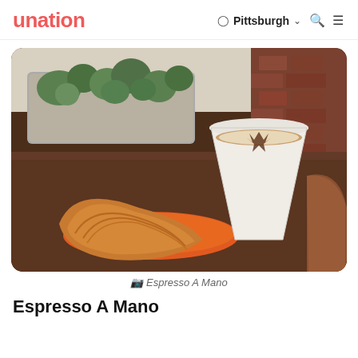unation | Pittsburgh
[Figure (photo): A croissant on an orange plate and a white paper cup of cappuccino with latte art on a wooden table, with a concrete planter of succulents and a brick wall in the background. Photo from Espresso A Mano cafe.]
📷 Espresso A Mano
Espresso A Mano